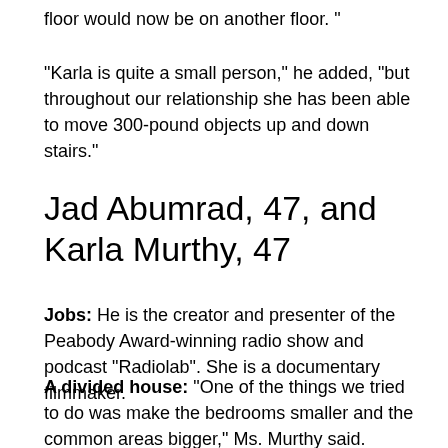floor would now be on another floor. "
"Karla is quite a small person," he added, "but throughout our relationship she has been able to move 300-pound objects up and down stairs."
Jad Abumrad, 47, and Karla Murthy, 47
Jobs: He is the creator and presenter of the Peabody Award-winning radio show and podcast "Radiolab". She is a documentary filmmaker.
A divided house: “One of the things we tried to do was make the bedrooms smaller and the common areas bigger,” Ms. Murthy said.